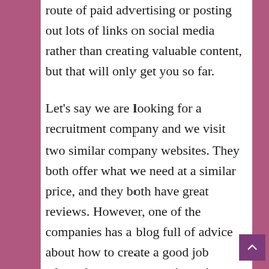route of paid advertising or posting out lots of links on social media rather than creating valuable content, but that will only get you so far.

Let's say we are looking for a recruitment company and we visit two similar company websites. They both offer what we need at a similar price, and they both have great reviews. However, one of the companies has a blog full of advice about how to create a good job advert, how to structure interviews, how to choose the right candidate, and so on. The other doesn't have a blog.